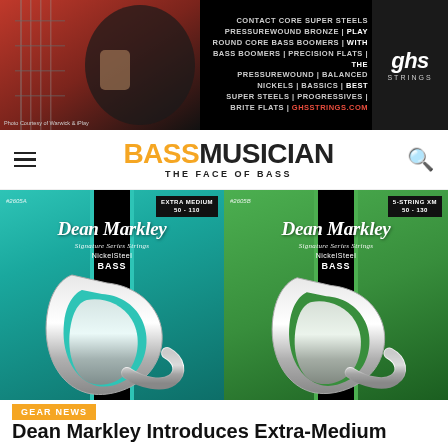[Figure (photo): GHS Strings advertisement banner with guitarist photo on the left and product text listing on the right with GHS logo]
BASS MUSICIAN — THE FACE OF BASS — navigation bar with hamburger menu and search icon
[Figure (photo): Two Dean Markley Signature Series NickelSteel Bass string packages — Extra Medium 50-110 (teal/turquoise background) and 5-String XM 50-130 (green background) — with large silver DM logo on each]
GEAR NEWS
Dean Markley Introduces Extra-Medium